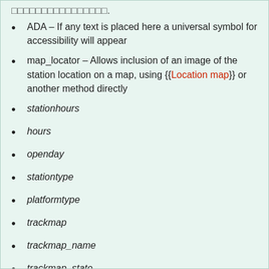aaaaaaaaaaaaaaaa.
ADA – If any text is placed here a universal symbol for accessibility will appear
map_locator – Allows inclusion of an image of the station location on a map, using {{Location map}} or another method directly
stationhours
hours
openday
stationtype
platformtype
trackmap
trackmap_name
trackmap_state